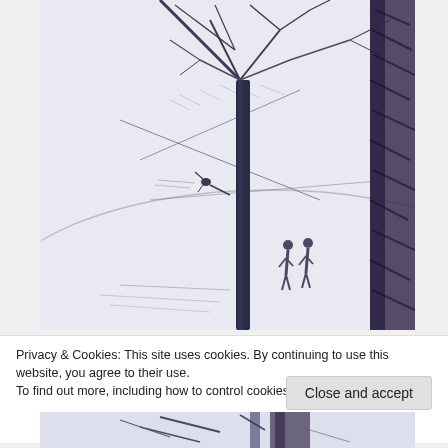[Figure (illustration): A pencil or charcoal sketch showing bare winter trees with dark trunks and branches against a light background. Two small human figures are visible in the middle distance. The rightmost portion shows a heavily textured dark tree or shrub. The scene has a wintry, atmospheric quality.]
Privacy & Cookies: This site uses cookies. By continuing to use this website, you agree to their use.
To find out more, including how to control cookies, see here: Cookie Policy
Close and accept
[Figure (illustration): Partial view of a second sketch at the bottom of the page, cropped, showing similar pencil/charcoal drawing style.]